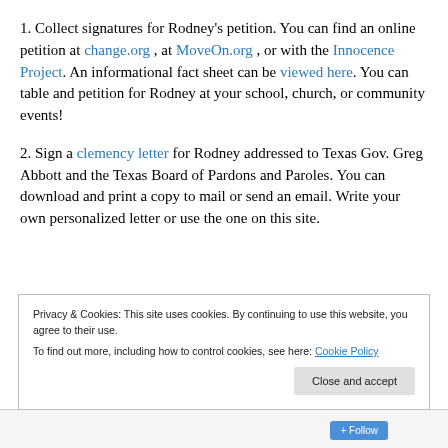1. Collect signatures for Rodney's petition. You can find an online petition at change.org , at MoveOn.org , or with the Innocence Project. An informational fact sheet can be viewed here. You can table and petition for Rodney at your school, church, or community events!
2. Sign a clemency letter for Rodney addressed to Texas Gov. Greg Abbott and the Texas Board of Pardons and Paroles. You can download and print a copy to mail or send an email. Write your own personalized letter or use the one on this site.
Privacy & Cookies: This site uses cookies. By continuing to use this website, you agree to their use. To find out more, including how to control cookies, see here: Cookie Policy